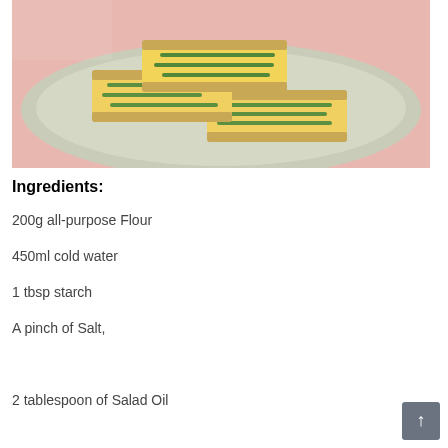[Figure (photo): Egg and green onion sandwiches stacked on a light green plate on a pink background. The sandwiches are cut into rectangular pieces showing layered yellow egg filling and green onions between slices of bread.]
Ingredients:
200g all-purpose Flour
450ml cold water
1 tbsp starch
A pinch of Salt,
2 tablespoon of Salad Oil